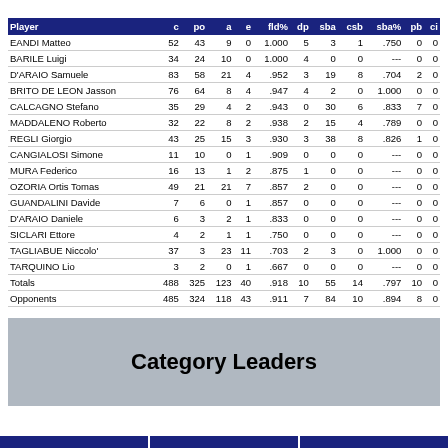| Player | c | po | a | e | fld% | dp | sba | csb | sba% | pb | ci |
| --- | --- | --- | --- | --- | --- | --- | --- | --- | --- | --- | --- |
| EANDI Matteo | 52 | 43 | 9 | 0 | 1.000 | 5 | 3 | 1 | .750 | 0 | 0 |
| BARILE Luigi | 34 | 24 | 10 | 0 | 1.000 | 4 | 0 | 0 | --- | 0 | 0 |
| D'ARAIO Samuele | 83 | 58 | 21 | 4 | .952 | 3 | 19 | 8 | .704 | 2 | 0 |
| BRITO DE LEON Jasson | 76 | 64 | 8 | 4 | .947 | 4 | 2 | 0 | 1.000 | 0 | 0 |
| CALCAGNO Stefano | 35 | 29 | 4 | 2 | .943 | 0 | 30 | 6 | .833 | 7 | 0 |
| MADDALENO Roberto | 32 | 22 | 8 | 2 | .938 | 2 | 15 | 4 | .789 | 0 | 0 |
| REGLI Giorgio | 43 | 25 | 15 | 3 | .930 | 3 | 38 | 8 | .826 | 1 | 0 |
| CANGIALOSI Simone | 11 | 10 | 0 | 1 | .909 | 0 | 0 | 0 | --- | 0 | 0 |
| MURA Federico | 16 | 13 | 1 | 2 | .875 | 1 | 0 | 0 | --- | 0 | 0 |
| OZORIA Ortis Tomas | 49 | 21 | 21 | 7 | .857 | 2 | 0 | 0 | --- | 0 | 0 |
| GUANDALINI Davide | 7 | 6 | 0 | 1 | .857 | 0 | 0 | 0 | --- | 0 | 0 |
| D'ARAIO Daniele | 6 | 3 | 2 | 1 | .833 | 0 | 0 | 0 | --- | 0 | 0 |
| SICLARI Ettore | 4 | 2 | 1 | 1 | .750 | 0 | 0 | 0 | --- | 0 | 0 |
| TAGLIABUE Niccolo' | 37 | 3 | 23 | 11 | .703 | 2 | 3 | 0 | 1.000 | 0 | 0 |
| TARQUINO Lio | 3 | 2 | 0 | 1 | .667 | 0 | 0 | 0 | --- | 0 | 0 |
| Totals | 488 | 325 | 123 | 40 | .918 | 10 | 55 | 14 | .797 | 10 | 0 |
| Opponents | 485 | 324 | 118 | 43 | .911 | 7 | 84 | 10 | .894 | 8 | 0 |
Category Leaders